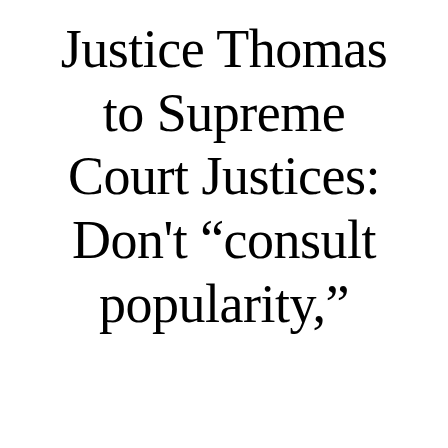Justice Thomas to Supreme Court Justices: Don't “consult popularity,”